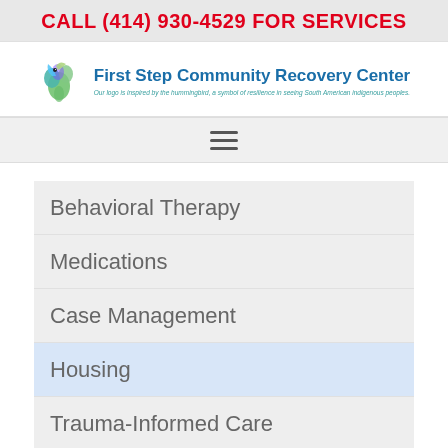CALL (414) 930-4529 FOR SERVICES
[Figure (logo): First Step Community Recovery Center logo with hummingbird and tagline text: Our logo is inspired by the hummingbird, a symbol of resilience in seeing South American indigenous peoples.]
≡ (hamburger menu icon)
Behavioral Therapy
Medications
Case Management
Housing
Trauma-Informed Care